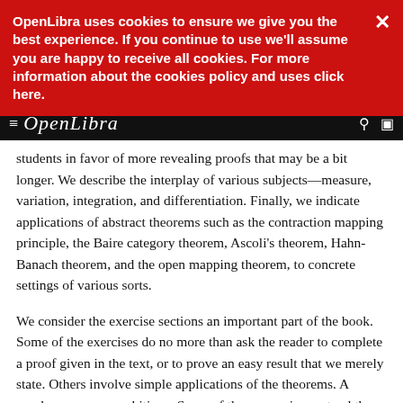OpenLibra uses cookies to ensure we give you the best experience. If you continue to use we'll assume you are happy to receive all cookies. For more information about the cookies policy and uses click here.
students in favor of more revealing proofs that may be a bit longer. We describe the interplay of various subjects—measure, variation, integration, and differentiation. Finally, we indicate applications of abstract theorems such as the contraction mapping principle, the Baire category theorem, Ascoli's theorem, Hahn-Banach theorem, and the open mapping theorem, to concrete settings of various sorts.
We consider the exercise sections an important part of the book. Some of the exercises do no more than ask the reader to complete a proof given in the text, or to prove an easy result that we merely state. Others involve simple applications of the theorems. A number are more ambitious. Some of these exercises extend the theory that we developed or present some related material. Others provide examples that we believe are interesting and revealing, but may not be well known. In general, the problems at the ends of the chapters are more substantial. A few of these problems can form the basis of projects for further study.